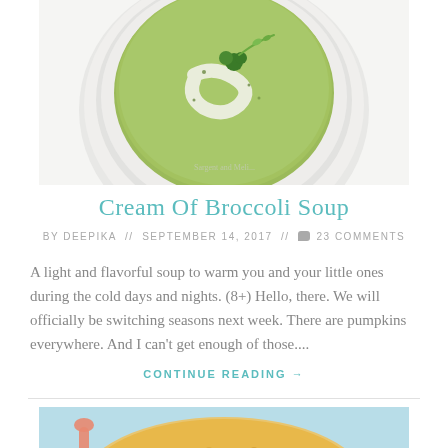[Figure (photo): A bowl of cream of broccoli soup, green with cream swirl and broccoli garnish, on a white plate on a marble surface.]
Cream Of Broccoli Soup
BY DEEPIKA // SEPTEMBER 14, 2017 // 💬 23 COMMENTS
A light and flavorful soup to warm you and your little ones during the cold days and nights. (8+) Hello, there. We will officially be switching seasons next week. There are pumpkins everywhere. And I can't get enough of those....
CONTINUE READING →
[Figure (photo): A bowl of orange/yellow soup (possibly corn or pumpkin) with a spoon, on a light blue background, partially visible at bottom.]